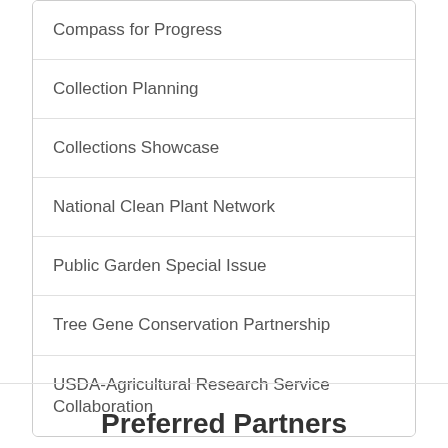Compass for Progress
Collection Planning
Collections Showcase
National Clean Plant Network
Public Garden Special Issue
Tree Gene Conservation Partnership
USDA-Agricultural Research Service Collaboration
Preferred Partners